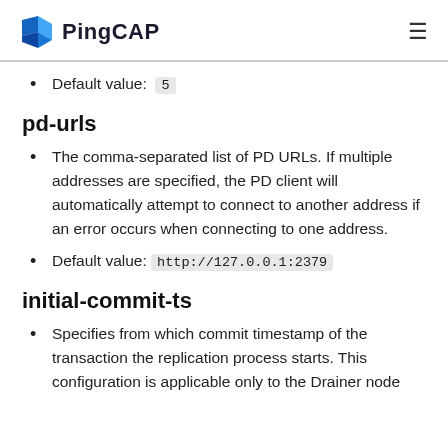PingCAP
Default value: 5
pd-urls
The comma-separated list of PD URLs. If multiple addresses are specified, the PD client will automatically attempt to connect to another address if an error occurs when connecting to one address.
Default value: http://127.0.0.1:2379
initial-commit-ts
Specifies from which commit timestamp of the transaction the replication process starts. This configuration is applicable only to the Drainer node